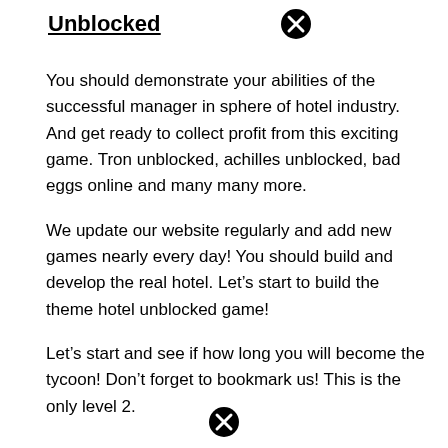Unblocked
You should demonstrate your abilities of the successful manager in sphere of hotel industry. And get ready to collect profit from this exciting game. Tron unblocked, achilles unblocked, bad eggs online and many many more.
We update our website regularly and add new games nearly every day! You should build and develop the real hotel. Let’s start to build the theme hotel unblocked game!
Let’s start and see if how long you will become the tycoon! Don’t forget to bookmark us! This is the only level 2.